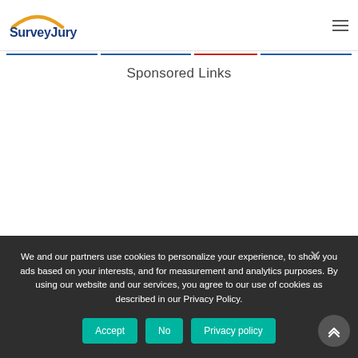SurveyJury
Sponsored Links
We and our partners use cookies to personalize your experience, to show you ads based on your interests, and for measurement and analytics purposes. By using our website and our services, you agree to our use of cookies as described in our Privacy Policy.
Accept
No
Privacy policy